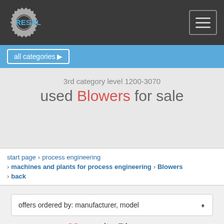[Figure (logo): Resale website logo with gear icon and RESALE text in blue]
all categories ▶
3rd category level 1200-3070
used Blowers for sale
start page › process engineering › machines and plants for process engineering › Blowers › back
offers ordered by: manufacturer, model
62 results Blowers